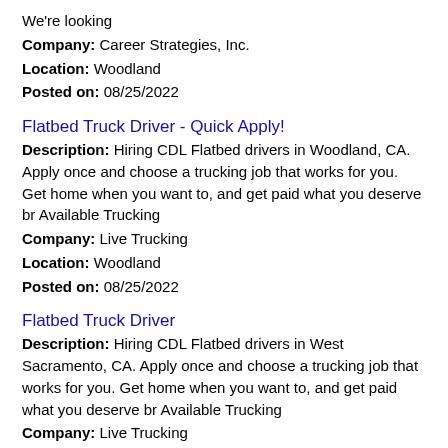We're looking
Company: Career Strategies, Inc.
Location: Woodland
Posted on: 08/25/2022
Flatbed Truck Driver - Quick Apply!
Description: Hiring CDL Flatbed drivers in Woodland, CA. Apply once and choose a trucking job that works for you. Get home when you want to, and get paid what you deserve br Available Trucking
Company: Live Trucking
Location: Woodland
Posted on: 08/25/2022
Flatbed Truck Driver
Description: Hiring CDL Flatbed drivers in West Sacramento, CA. Apply once and choose a trucking job that works for you. Get home when you want to, and get paid what you deserve br Available Trucking
Company: Live Trucking
Location: West Sacramento
Posted on: 08/25/2022
Commercial Lines Account Manager, Hybrid, Woodland